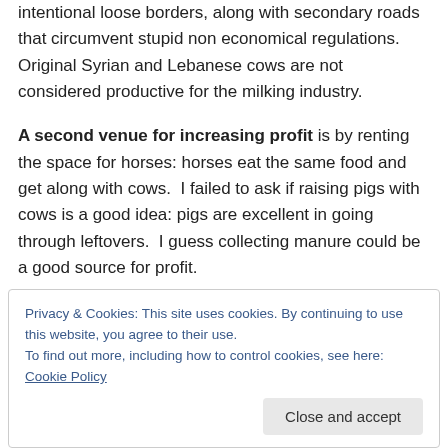intentional loose borders, along with secondary roads that circumvent stupid non economical regulations. Original Syrian and Lebanese cows are not considered productive for the milking industry.
A second venue for increasing profit is by renting the space for horses: horses eat the same food and get along with cows.  I failed to ask if raising pigs with cows is a good idea: pigs are excellent in going through leftovers.  I guess collecting manure could be a good source for profit.
Privacy & Cookies: This site uses cookies. By continuing to use this website, you agree to their use. To find out more, including how to control cookies, see here: Cookie Policy
Close and accept